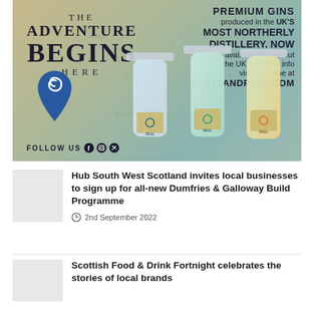[Figure (illustration): Shetland Reel Gin advertisement showing three gin bottles on a map background with the text 'THE ADVENTURE BEGINS HERE' and 'PREMIUM GINS produced in the UK'S MOST NORTHERLY DISTILLERY. NOW available throughout the UK For more info visit us online at SHETLANDREEL.COM'. Features a blue spiral location pin logo and 'FOLLOW US' with social media icons.]
Hub South West Scotland invites local businesses to sign up for all-new Dumfries & Galloway Build Programme
2nd September 2022
Scottish Food & Drink Fortnight celebrates the stories of local brands